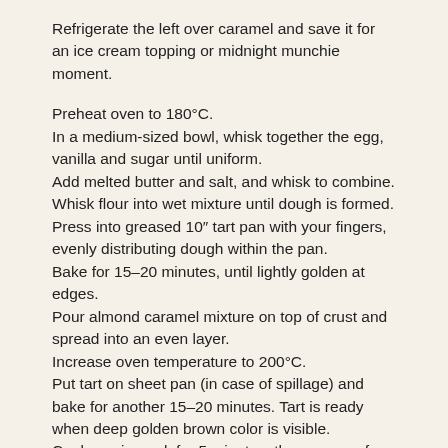Refrigerate the left over caramel and save it for an ice cream topping or midnight munchie moment.
Preheat oven to 180°C.
In a medium-sized bowl, whisk together the egg, vanilla and sugar until uniform.
Add melted butter and salt, and whisk to combine.
Whisk flour into wet mixture until dough is formed.
Press into greased 10″ tart pan with your fingers, evenly distributing dough within the pan.
Bake for 15–20 minutes, until lightly golden at edges.
Pour almond caramel mixture on top of crust and spread into an even layer.
Increase oven temperature to 200°C.
Put tart on sheet pan (in case of spillage) and bake for another 15–20 minutes. Tart is ready when deep golden brown color is visible.
Cool on wire rack for 5 minutes, then remove from pan to finish cooling.